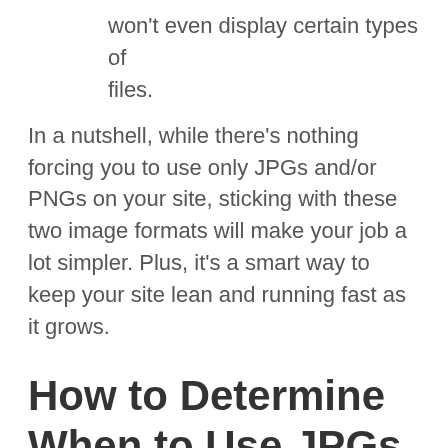won't even display certain types of files.
In a nutshell, while there's nothing forcing you to use only JPGs and/or PNGs on your site, sticking with these two image formats will make your job a lot simpler. Plus, it's a smart way to keep your site lean and running fast as it grows.
How to Determine When to Use JPGs vs. PNGs
Now that you understand the basic differences between JPGs and PNGs, you may be wondering whether you should